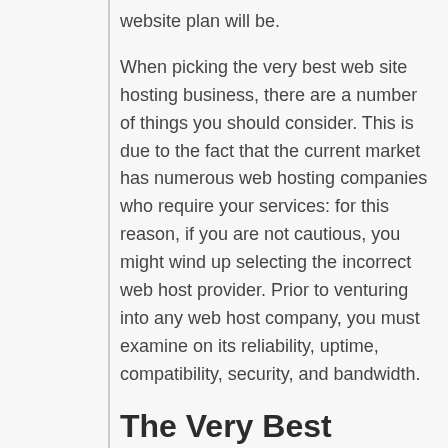website plan will be.
When picking the very best web site hosting business, there are a number of things you should consider. This is due to the fact that the current market has numerous web hosting companies who require your services: for this reason, if you are not cautious, you might wind up selecting the incorrect web host provider. Prior to venturing into any web host company, you must examine on its reliability, uptime, compatibility, security, and bandwidth.
The Very Best Webhosting